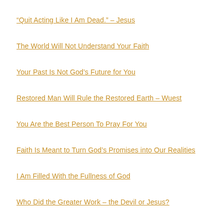“Quit Acting Like I Am Dead.” – Jesus
The World Will Not Understand Your Faith
Your Past Is Not God’s Future for You
Restored Man Will Rule the Restored Earth – Wuest
You Are the Best Person To Pray For You
Faith Is Meant to Turn God’s Promises into Our Realities
I Am Filled With the Fullness of God
Who Did the Greater Work – the Devil or Jesus?